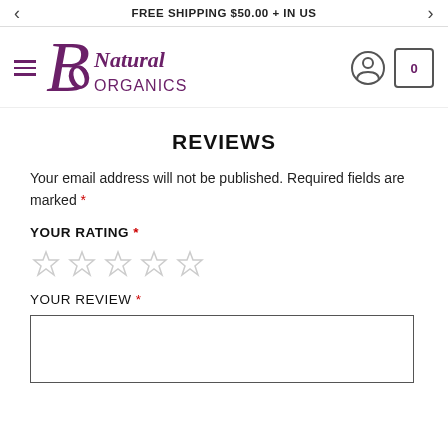FREE SHIPPING $50.00 + IN US
[Figure (logo): Be Natural Organics logo with stylized B and leaf icon in purple, with user account icon and cart (0) on the right]
REVIEWS
Your email address will not be published. Required fields are marked *
YOUR RATING *
[Figure (other): Five empty/unselected gray star rating icons]
YOUR REVIEW *
[Figure (other): Empty text area input box for review]